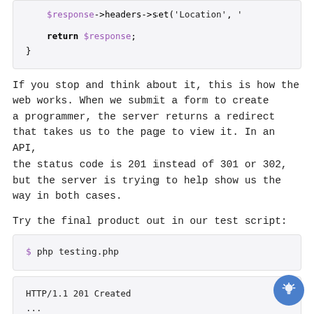[Figure (screenshot): Code block showing PHP: $response->headers->set('Location', ...), return $response; }]
If you stop and think about it, this is how the web works. When we submit a form to create a programmer, the server returns a redirect that takes us to the page to view it. In an API, the status code is 201 instead of 301 or 302, but the server is trying to help show us the way in both cases.
Try the final product out in our test script:
[Figure (screenshot): Terminal code block: $ php testing.php]
[Figure (screenshot): HTTP response block: HTTP/1.1 201 Created ... Location: /some/programmer/url Content-Type: text/html; charset=UTF-8]